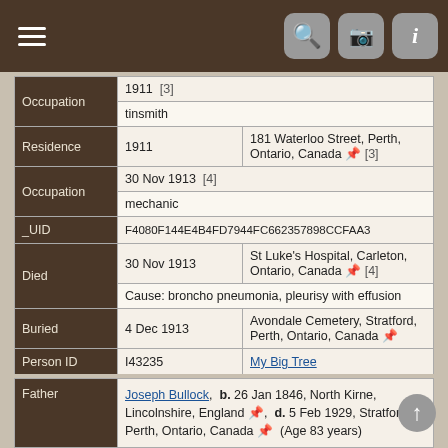Navigation bar with menu, search, camera, and info icons
| Field | Value1 | Value2 |
| --- | --- | --- |
| Occupation | 1911  [3] |  |
|  | tinsmith |  |
| Residence | 1911 | 181 Waterloo Street, Perth, Ontario, Canada 📍 [3] |
| Occupation | 30 Nov 1913  [4] |  |
|  | mechanic |  |
| _UID | F4080F144E4B4FD7944FC662357898CCFAA3 |  |
| Died | 30 Nov 1913 | St Luke's Hospital, Carleton, Ontario, Canada 📍 [4] |
|  | Cause: broncho pneumonia, pleurisy with effusion |  |
| Buried | 4 Dec 1913 | Avondale Cemetery, Stratford, Perth, Ontario, Canada 📍 |
| Person ID | I43235 | My Big Tree |
| Last Modified | 11 May 2022 |  |
| Field | Value |
| --- | --- |
| Father | Joseph Bullock,  b. 26 Jan 1846, North Kirne, Lincolnshire, England,  d. 5 Feb 1929, Stratford, Perth, Ontario, Canada (Age 83 years) |